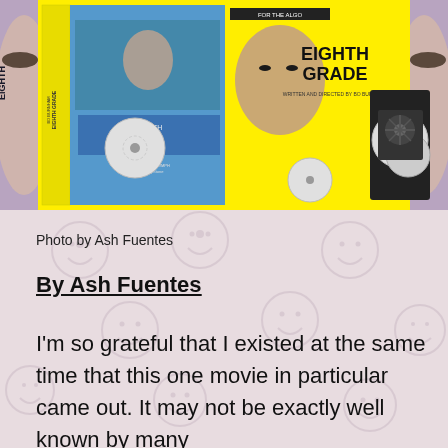[Figure (photo): Photo of Eighth Grade movie DVD/Blu-ray box set laid out on a yellow background, showing the movie case front, back, spine, discs, and case open with DVDs. The box art features a close-up of a young woman's face on both sides of the frame, with the movie title 'EIGHTH GRADE' prominently displayed. Yellow background with circular disc graphics.]
Photo by Ash Fuentes
By Ash Fuentes
I'm so grateful that I existed at the same time that this one movie in particular came out. It may not be exactly well known by many